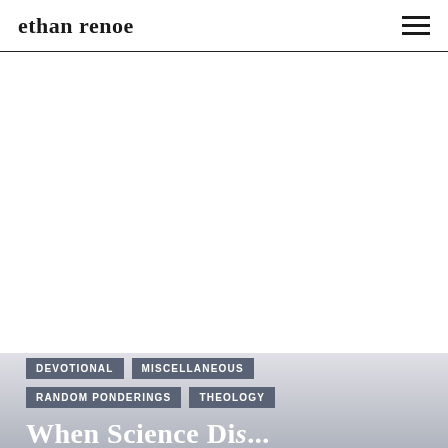ethan renoe
[Figure (photo): Large white/blank image area below the site header, occupying the majority of the page]
DEVOTIONAL
MISCELLANEOUS
RANDOM PONDERINGS
THEOLOGY
W h e n S c i e n c e D i s...